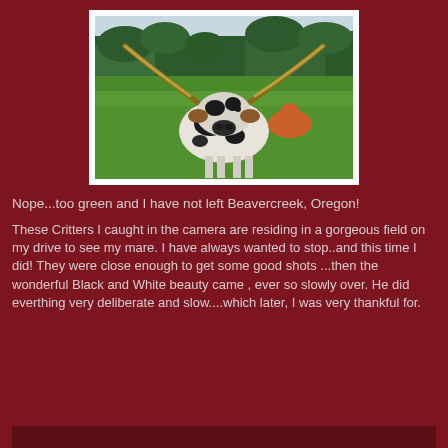[Figure (photo): A Texas Longhorn cattle with large curved horns standing in a lush green field, facing the camera. Trees visible in the background. The animal is black and white with some brown coloring.]
Nope...too green and I have not left Beavercreek, Oregon!
These Critters I caught in the camera are residing in a gorgeous field on my drive to see my mare. I have always wanted to stop..and this time I did! They were close enough to get some good shots ...then the wonderful Black and White beauty came , ever so slowly over. He did everthing very deliberate and slow....which later, I was very thankful for.